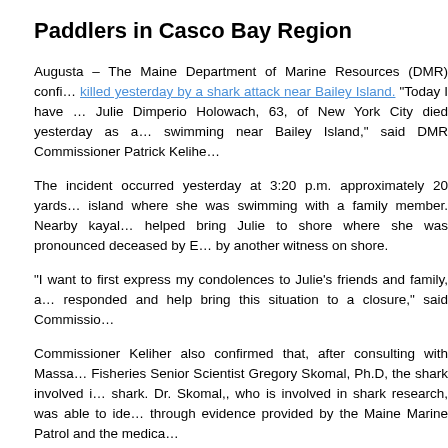Paddlers in Casco Bay Region
Augusta – The Maine Department of Marine Resources (DMR) confirmed that a woman was killed yesterday by a shark attack near Bailey Island. "Today I have the sad duty to report that Julie Dimperio Holowach, 63, of New York City died yesterday as a result of a shark attack while swimming near Bailey Island," said DMR Commissioner Patrick Keliher.
The incident occurred yesterday at 3:20 p.m. approximately 20 yards offshore from the island where she was swimming with a family member. Nearby kayakers and her family member helped bring Julie to shore where she was pronounced deceased by EMTs who had been called by another witness on shore.
"I want to first express my condolences to Julie's friends and family, and to those who responded and help bring this situation to a closure," said Commissioner...
Commissioner Keliher also confirmed that, after consulting with Massachusetts Marine Fisheries Senior Scientist Gregory Skomal, Ph.D, the shark involved in the attack was a white shark. Dr. Skomal,, who is involved in shark research, was able to identify the species through evidence provided by the Maine Marine Patrol and the medical examiner.
Commissioner Keliher emphasized how uncommon the incident was. "No one has ever died in Maine waters from a shark attack," said Commissioner Keliher. The last known non-fatal attack in Maine waters occurred 10 years ago near Eastport, and that shark was identified as a porbeagle.
He added that, although the incident of a shark attack in Maine...